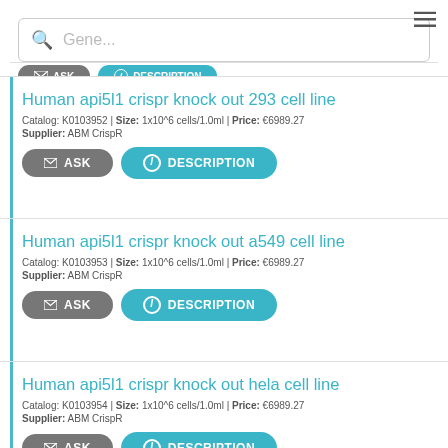Gene... [search bar]
Human api5l1 crispr knock out 293 cell line
Catalog: K0103952 | Size: 1x10^6 cells/1.0ml | Price: €6989.27
Supplier: ABM CrispR
Human api5l1 crispr knock out a549 cell line
Catalog: K0103953 | Size: 1x10^6 cells/1.0ml | Price: €6989.27
Supplier: ABM CrispR
Human api5l1 crispr knock out hela cell line
Catalog: K0103954 | Size: 1x10^6 cells/1.0ml | Price: €6989.27
Supplier: ABM CrispR